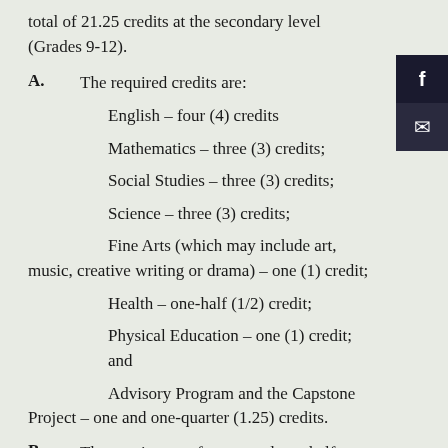total of 21.25 credits at the secondary level (Grades 9-12).
A.  The required credits are:
English – four (4) credits
Mathematics – three (3) credits;
Social Studies – three (3) credits;
Science – three (3) credits;
Fine Arts (which may include art, music, creative writing or drama) – one (1) credit;
Health – one-half (1/2) credit;
Physical Education – one (1) credit; and
Advisory Program and the Capstone Project – one and one-quarter (1.25) credits.
B.  The requirement for one and one-half (1.5) credits and